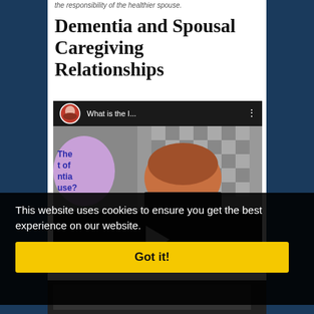the responsibility of the healthier spouse.
Dementia and Spousal Caregiving Relationships
[Figure (screenshot): Video thumbnail showing a woman with red hair, a purple circle overlay with text 'The t of ntia use?', a checkered background, and a top bar with avatar and title 'What is the I...']
This website uses cookies to ensure you get the best experience on our website.
Got it!